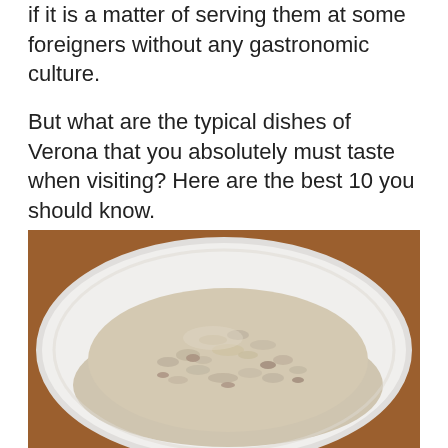if it is a matter of serving them at some foreigners without any gastronomic culture.
But what are the typical dishes of Verona that you absolutely must taste when visiting? Here are the best 10 you should know.
[Figure (photo): A close-up photo of a mound of creamy risotto on a white plate, set on a wooden surface. The risotto appears to be a classic Italian rice dish with a creamy, slightly chunky texture.]